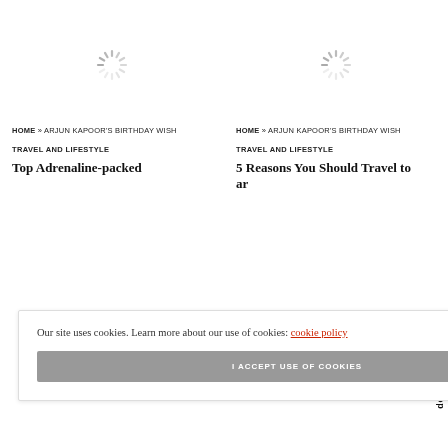[Figure (illustration): Loading spinner icon (gray radial lines), left column]
[Figure (illustration): Loading spinner icon (gray radial lines), right column]
HOME » ARJUN KAPOOR'S BIRTHDAY WISH
HOME » ARJUN KAPOOR'S BIRTHDAY WISH
TRAVEL AND LIFESTYLE
TRAVEL AND LIFESTYLE
Top Adrenaline-packed
5 Reasons You Should Travel to ar
Our site uses cookies. Learn more about our use of cookies: cookie policy
I ACCEPT USE OF COOKIES
Scroll To Top